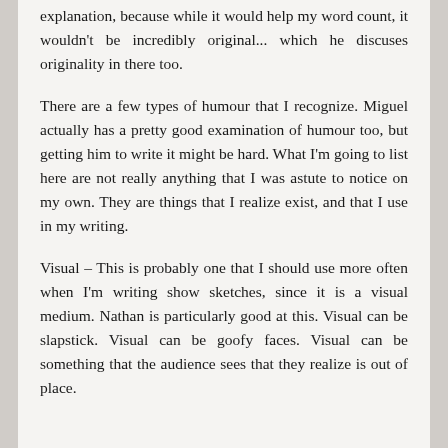explanation, because while it would help my word count, it wouldn't be incredibly original... which he discuses originality in there too.
There are a few types of humour that I recognize. Miguel actually has a pretty good examination of humour too, but getting him to write it might be hard. What I'm going to list here are not really anything that I was astute to notice on my own. They are things that I realize exist, and that I use in my writing.
Visual – This is probably one that I should use more often when I'm writing show sketches, since it is a visual medium. Nathan is particularly good at this. Visual can be slapstick. Visual can be goofy faces. Visual can be something that the audience sees that they realize is out of place.